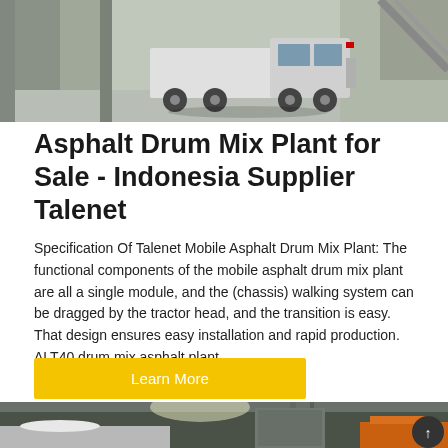[Figure (photo): Industrial facility with a white MAN truck parked between building structures, viewed from ground level.]
Asphalt Drum Mix Plant for Sale - Indonesia Supplier Talenet
Specification Of Talenet Mobile Asphalt Drum Mix Plant: The functional components of the mobile asphalt drum mix plant are all a single module, and the (chassis) walking system can be dragged by the tractor head, and the transition is easy. That design ensures easy installation and rapid production. ALT40 drum mix asphalt plant.
Learn More
[Figure (photo): Interior of an industrial plant showing large cylindrical drums and orange machinery components inside a metal-roofed facility.]